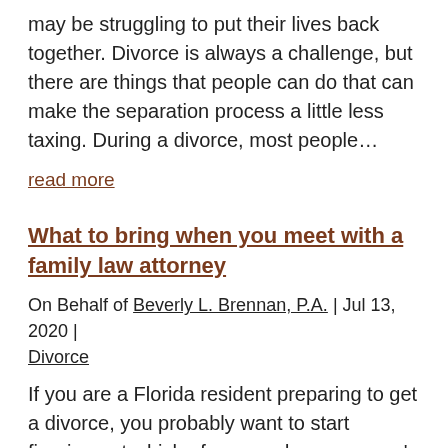may be struggling to put their lives back together. Divorce is always a challenge, but there are things that people can do that can make the separation process a little less taxing. During a divorce, most people…
read more
What to bring when you meet with a family law attorney
On Behalf of Beverly L. Brennan, P.A. | Jul 13, 2020 | Divorce
If you are a Florida resident preparing to get a divorce, you probably want to start figuring out which of your and your spouse's assets constitute